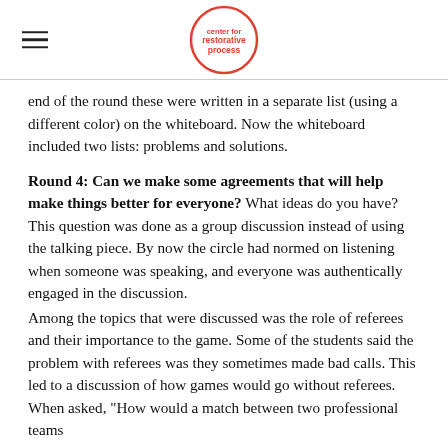center for restorative process (logo)
end of the round these were written in a separate list (using a different color) on the whiteboard. Now the whiteboard included two lists: problems and solutions.
Round 4: Can we make some agreements that will help make things better for everyone?
What ideas do you have? This question was done as a group discussion instead of using the talking piece. By now the circle had normed on listening when someone was speaking, and everyone was authentically engaged in the discussion.
Among the topics that were discussed was the role of referees and their importance to the game. Some of the students said the problem with referees was they sometimes made bad calls. This led to a discussion of how games would go without referees. When asked, "How would a match between two professional teams